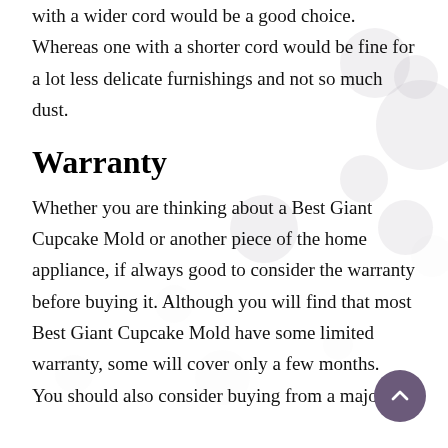a lot of furniture or delicate furnishings, then one with a wider cord would be a good choice. Whereas one with a shorter cord would be fine for a lot less delicate furnishings and not so much dust.
Warranty
Whether you are thinking about a Best Giant Cupcake Mold or another piece of the home appliance, if always good to consider the warranty before buying it. Although you will find that most Best Giant Cupcake Mold have some limited warranty, some will cover only a few months.
You should also consider buying from a major